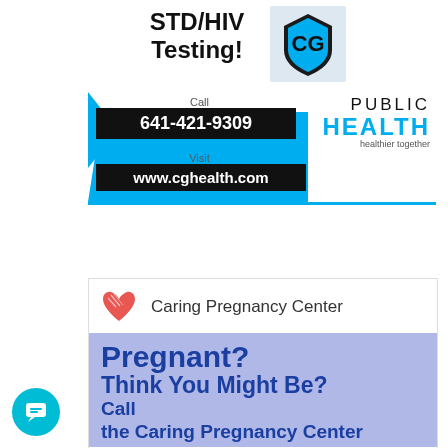[Figure (infographic): CG Public Health advertisement for STD/HIV Testing. Shows 'STD/HIV Testing!' headline, phone number 641-421-9309, website www.cghealth.com, CG shield logo, and 'PUBLIC HEALTH — healthier together' branding.]
[Figure (infographic): Caring Pregnancy Center advertisement with red heart logo. Blue-purple background box with text: 'Pregnant? Think You Might Be? Call the Caring Pregnancy Center today to schedule a...']